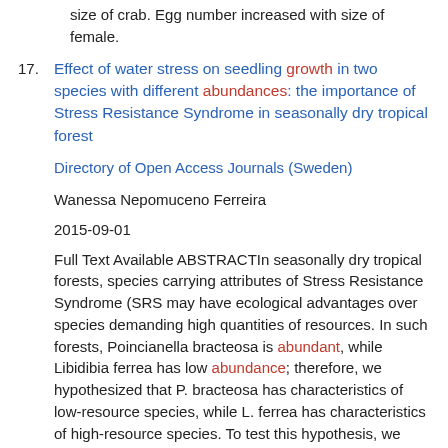size of crab. Egg number increased with size of female.
17. Effect of water stress on seedling growth in two species with different abundances: the importance of Stress Resistance Syndrome in seasonally dry tropical forest
Directory of Open Access Journals (Sweden)
Wanessa Nepomuceno Ferreira
2015-09-01
Full Text Available ABSTRACTIn seasonally dry tropical forests, species carrying attributes of Stress Resistance Syndrome (SRS may have ecological advantages over species demanding high quantities of resources. In such forests, Poincianella bracteosa is abundant, while Libidibia ferrea has low abundance; therefore, we hypothesized that P. bracteosa has characteristics of low-resource species, while L. ferrea has characteristics of high-resource species. To test this hypothesis, we assessed morphological and physiological traits of seedlings of these species under different water regimes (100%, 70%, 40%, and 10% field capacity over 85 days. For most of the studied variables we observed significant decreases with